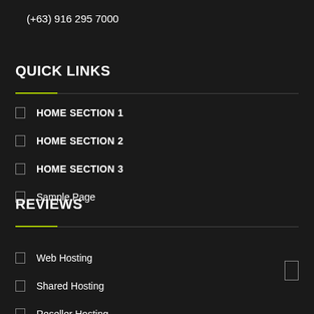(+63) 916 295 7000
QUICK LINKS
HOME SECTION 1
HOME SECTION 2
HOME SECTION 3
Sample Page
REVIEWS
Web Hosting
Shared Hosting
Reseller Hosting